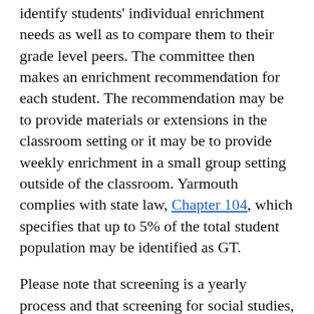identify students' individual enrichment needs as well as to compare them to their grade level peers. The committee then makes an enrichment recommendation for each student. The recommendation may be to provide materials or extensions in the classroom setting or it may be to provide weekly enrichment in a small group setting outside of the classroom. Yarmouth complies with state law, Chapter 104, which specifies that up to 5% of the total student population may be identified as GT.
Please note that screening is a yearly process and that screening for social studies, science, and visual/performing arts enrichment follows the same timeline. The screening tools for these disciplines include teacher and student checklists, student work samples, and teacher observations in collaboration with the GT teachers.